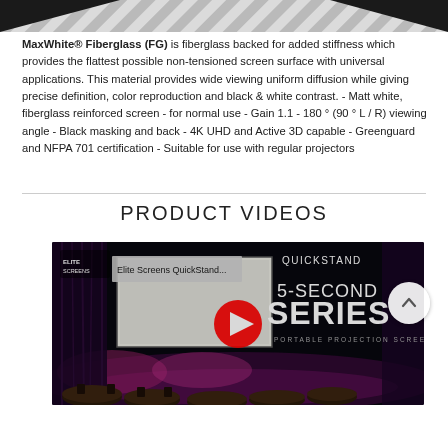[Figure (photo): Partial top banner image showing diagonal stripe pattern in greyscale]
MaxWhite® Fiberglass (FG) is fiberglass backed for added stiffness which provides the flattest possible non-tensioned screen surface with universal applications. This material provides wide viewing uniform diffusion while giving precise definition, color reproduction and black & white contrast. - Matt white, fiberglass reinforced screen - for normal use - Gain 1.1 - 180 ° (90 ° L / R) viewing angle - Black masking and back - 4K UHD and Active 3D capable - Greenguard and NFPA 701 certification - Suitable for use with regular projectors
PRODUCT VIDEOS
[Figure (screenshot): YouTube video thumbnail for Elite Screens QuickStand 5-Second Series Portable Projection Screen video, showing a darkened stage/venue with pink/purple stage lighting, round tables, chairs, and a projection screen on stage. YouTube play button overlay in center. Text overlay shows 'QUICKSTAND 5-SECOND SERIES PORTABLE PROJECTION SCREEN'. A circular scroll-to-top arrow button appears at right edge.]